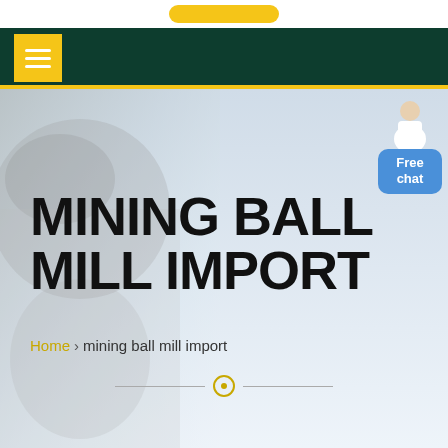[Figure (screenshot): Website header with dark green navigation bar containing a yellow hamburger menu button on the left]
MINING BALL MILL IMPORT
Home > mining ball mill import
[Figure (illustration): Worker in hard hat silhouette as hero background image with Free chat widget button in top right corner]